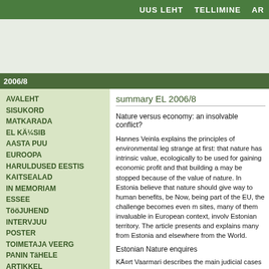UUS LEHT   TELLIMINE   AR
2006/8
AVALEHT
SISUKORD
MATKARADA
EL KÄ¼SIB
AASTA PUU
EUROOPA
HARULDUSED EESTIS
KAITSEALAD
IN MEMORIAM
ESSEE
TööJUHEND
INTERVJUU
POSTER
TOIMETAJA VEERG
PANIN TäHELE
ARTIKKEL
SUMMARY
Eesti Looduse viktoriin
summary EL 2006/8
Nature versus economy: an insolvable conflict?
Hannes Veinla explains the principles of environmental leg strange at first: that nature has intrinsic value, ecologically to be used for gaining economic profit and that building a may be stopped because of the value of nature. In Estonia believe that nature should give way to human benefits, be Now, being part of the EU, the challenge becomes even m sites, many of them invaluable in European context, involv Estonian territory. The article presents and explains many from Estonia and elsewhere from the World.
Estonian Nature enquires
KÄ¤rt Vaarmari describes the main judicial cases that are b for Nature.
Leo Filippov introduces the Society of the Owners of Old V